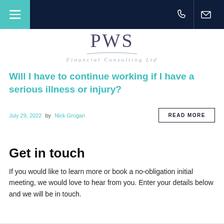PWS Financial Consulting Ltd
[Figure (logo): PWS Financial Consulting Ltd logo with stylized text and swash underline]
Will I have to continue working if I have a serious illness or injury?
July 29, 2022 by Nick Grogan
Get in touch
If you would like to learn more or book a no-obligation initial meeting, we would love to hear from you. Enter your details below and we will be in touch.